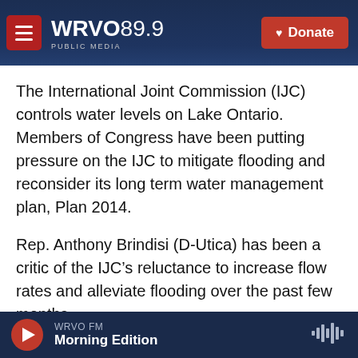WRVO PUBLIC MEDIA 89.9 — Donate
The International Joint Commission (IJC) controls water levels on Lake Ontario. Members of Congress have been putting pressure on the IJC to mitigate flooding and reconsider its long term water management plan, Plan 2014.
Rep. Anthony Brindisi (D-Utica) has been a critic of the IJC's reluctance to increase flow rates and alleviate flooding over the past few months.
“Clearly in my mind, the plan is not working as written,” Brindisi said this week after meeting with
WRVO FM — Morning Edition